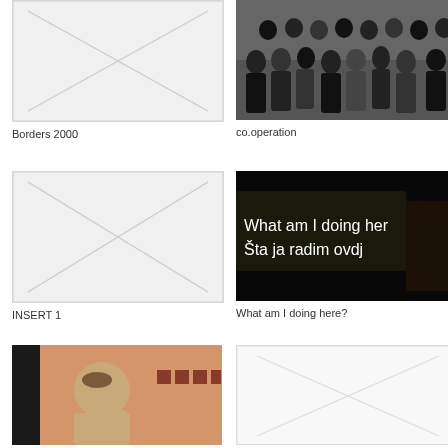[Figure (photo): Placeholder image with X diagonal lines, light grey background]
Borders 2000
[Figure (photo): Black and white group photo of many people seated and standing]
co.operation
[Figure (photo): Placeholder image with X diagonal lines, light grey background]
INSERT 1
[Figure (photo): Dark projection image with white text: What am I doing here? / Šta ja radim ovdj]
What am I doing here?
[Figure (photo): Color photo of bald man looking at small photographs on wall]
[Figure (photo): Placeholder image with X diagonal lines, white/light background]